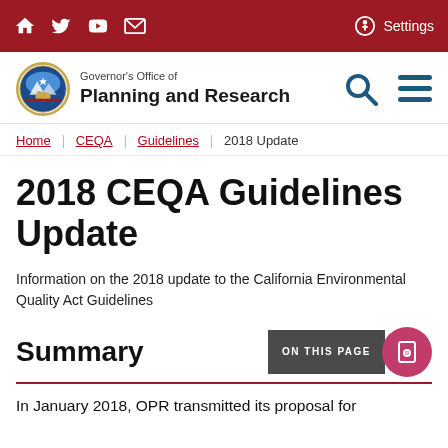Governor's Office of Planning and Research — top navigation bar with home, twitter, youtube, email icons and Settings
[Figure (logo): California state seal / Governor's Office of Planning and Research logo]
Home : CEQA : Guidelines : 2018 Update
2018 CEQA Guidelines Update
Information on the 2018 update to the California Environmental Quality Act Guidelines
Summary
In January 2018, OPR transmitted its proposal for